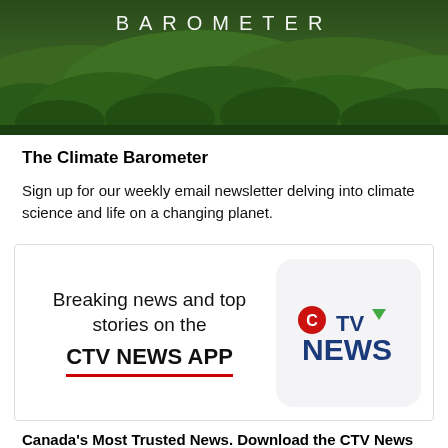[Figure (photo): Forest landscape with lush green trees covering hills/mountains, with 'BAROMETER' text overlay in white letters at the top]
The Climate Barometer
Sign up for our weekly email newsletter delving into climate science and life on a changing planet.
[Figure (infographic): CTV News App advertisement banner showing 'Breaking news and top stories on the CTV NEWS APP' with CTV News logo in a rounded square on the right]
Canada's Most Trusted News. Download the CTV News app now.